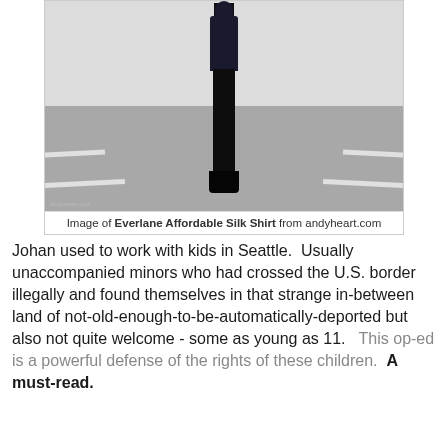[Figure (photo): Photo of a woman dressed in all black (dark shirt, black skinny pants, black boots) standing in a parking lot with white painted lines on the pavement. The photo is framed with a light border.]
Image of Everlane Affordable Silk Shirt from andyheart.com
Johan used to work with kids in Seattle.  Usually unaccompanied minors who had crossed the U.S. border illegally and found themselves in that strange in-between land of not-old-enough-to-be-automatically-deported but also not quite welcome - some as young as 11.   This op-ed is a powerful defense of the rights of these children.  A must-read.